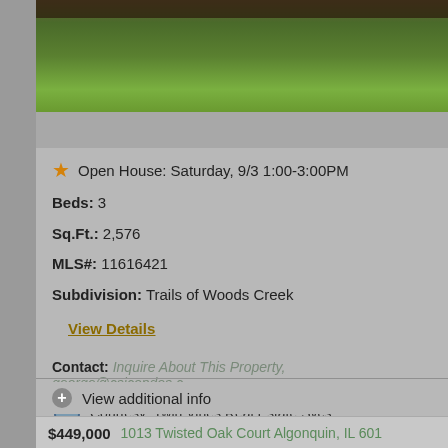[Figure (photo): Partial view of a lawn/grass area, top portion of a property photo, showing green grass and dark soil border at top.]
Open House: Saturday, 9/3 1:00-3:00PM
Beds: 3
Sq.Ft.: 2,576
MLS#: 11616421
Subdivision: Trails of Woods Creek
View Details
Contact: Inquire About This Property, george@csicondos.c…
Courtesy: Twin Vines Real Estate Svcs
View additional info
$449,000  1013 Twisted Oak Court Algonquin, IL 601…